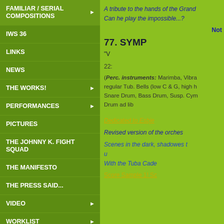FAMILIAR / SERIAL COMPOSITIONS
IWS 36
LINKS
NEWS
THE WORKS!
PERFORMANCES
PICTURES
THE JOHNNY K. FIGHT SQUAD
THE MANIFESTO
THE PRESS SAID...
VIDEO
WORKLIST
A tribute to the hands of the Grand... Can he play the impossible...?
Not
77. SYMP...
"V..."
22:
(Perc. instruments: Marimba, Vibra... regular Tub. Bells (low C & G, high h... Snare Drum, Bass Drum, Susp. Cym... Drum ad lib...
Dedicated to Esbje...
Revised version of the orches...
Scenes in the dark, shadowes t... u... With the Tuba Cade...
Score Sample 1! Sc...